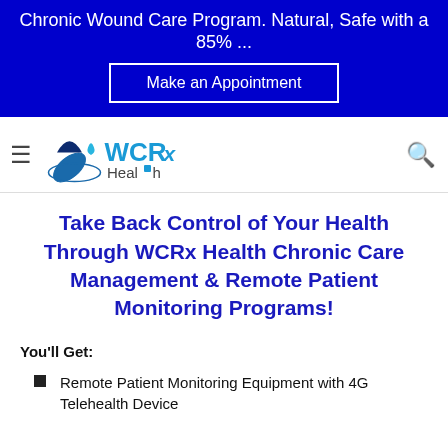Chronic Wound Care Program. Natural, Safe with a 85% ...
Make an Appointment
[Figure (logo): WCRx Health logo with pharmacy capsule and water droplet icon]
Take Back Control of Your Health Through WCRx Health Chronic Care Management & Remote Patient Monitoring Programs!
You'll Get:
Remote Patient Monitoring Equipment with 4G Telehealth Device